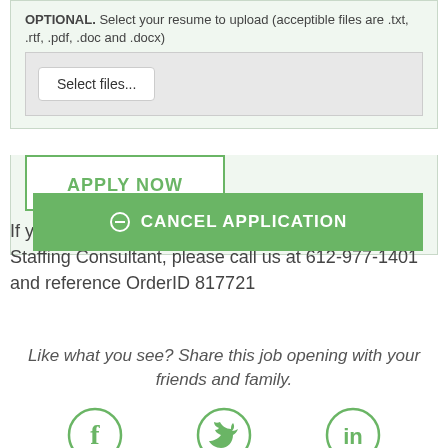OPTIONAL. Select your resume to upload (acceptible files are .txt, .rtf, .pdf, .doc and .docx)
[Figure (screenshot): File upload area with 'Select files...' button on grey background]
APPLY NOW
CANCEL APPLICATION
If you would prefer to speak directly to an Indrotec Staffing Consultant, please call us at 612-977-1401 and reference OrderID 817721
Like what you see? Share this job opening with your friends and family.
[Figure (illustration): Social media icons: Facebook, Twitter, LinkedIn circles in green]